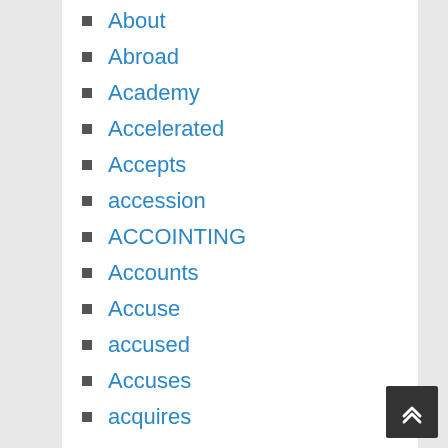About
Abroad
Academy
Accelerated
Accepts
accession
ACCOINTING
Accounts
Accuse
accused
Accuses
acquires
across
Actant
action